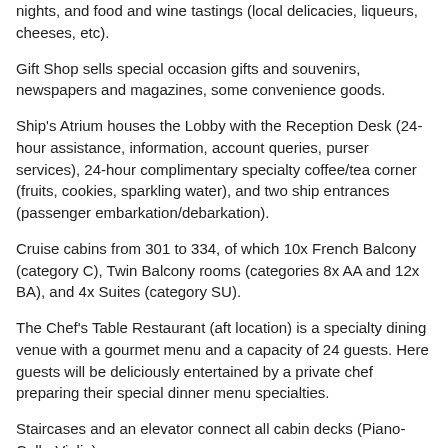nights, and food and wine tastings (local delicacies, liqueurs, cheeses, etc).
Gift Shop sells special occasion gifts and souvenirs, newspapers and magazines, some convenience goods.
Ship's Atrium houses the Lobby with the Reception Desk (24-hour assistance, information, account queries, purser services), 24-hour complimentary specialty coffee/tea corner (fruits, cookies, sparkling water), and two ship entrances (passenger embarkation/debarkation).
Cruise cabins from 301 to 334, of which 10x French Balcony (category C), Twin Balcony rooms (categories 8x AA and 12x BA), and 4x Suites (category SU).
The Chef's Table Restaurant (aft location) is a specialty dining venue with a gourmet menu and a capacity of 24 guests. Here guests will be deliciously entertained by a private chef preparing their special dinner menu specialties.
Staircases and an elevator connect all cabin decks (Piano-Cello-Violin).